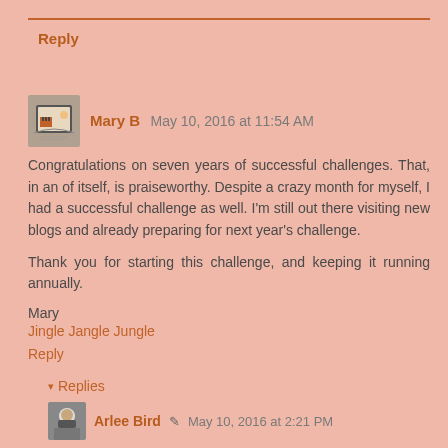Reply
Mary B  May 10, 2016 at 11:54 AM
Congratulations on seven years of successful challenges. That, in an of itself, is praiseworthy. Despite a crazy month for myself, I had a successful challenge as well. I'm still out there visiting new blogs and already preparing for next year's challenge.

Thank you for starting this challenge, and keeping it running annually.
Mary
Jingle Jangle Jungle
Reply
▾ Replies
Arlee Bird ✎ May 10, 2016 at 2:21 PM